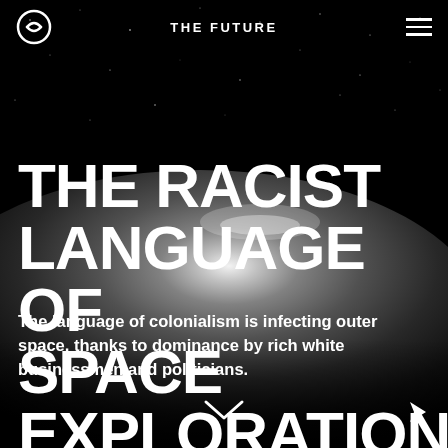THE FUTURE
THE RACIST LANGUAGE OF SPACE EXPLORATION
The language of colonialism is infecting outer space, thanks to dominance by rich white businessmen and politicians.